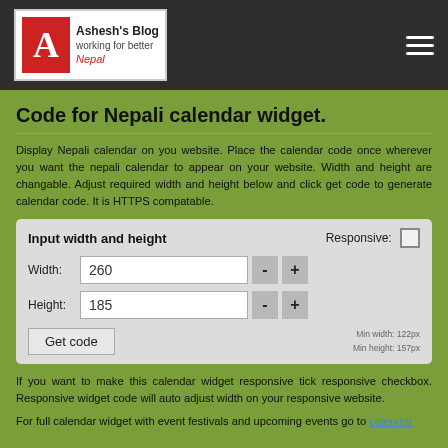Ashesh's Blog — working for better Nepal
Code for Nepali calendar widget.
Display Nepali calendar on you website. Place the calendar code once wherever you want the nepali calendar to appear on your website. Width and height are changable. Adjust required width and height below and click get code to generate calendar code. It is HTTPS compatable.
Input width and height | Responsive: [ ] | Width: 260 | - | + | Height: 185 | - | + | Get code | Min width: 122px Min height: 157px
If you want to make this calendar widget responsive tick responsive checkbox. Responsive widget code will auto adjust width on your responsive website.
For full calendar widget with event festivals and upcoming events go to calendar